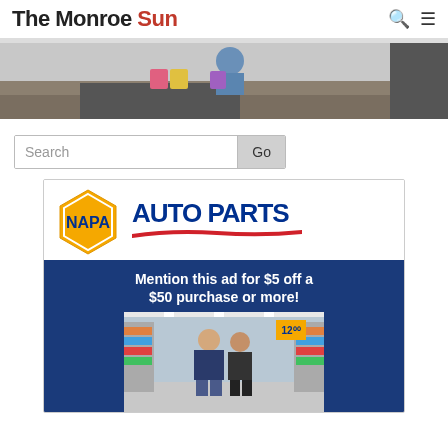The Monroe Sun
[Figure (photo): Interior store/shop scene showing a person standing at a checkout counter with colorful packaged goods on the counter]
Search
[Figure (infographic): NAPA Auto Parts advertisement. Shows NAPA Auto Parts logo (yellow hexagon with NAPA text, blue AUTO PARTS text with red underline). Blue lower section reads: Mention this ad for $5 off a $50 purchase or more! Below is a photo of a man and woman standing in a NAPA store aisle.]